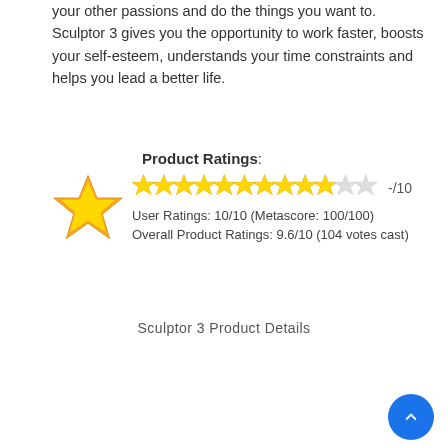your other passions and do the things you want to. Sculptor 3 gives you the opportunity to work faster, boosts your self-esteem, understands your time constraints and helps you lead a better life.
Product Ratings: ★★★★★★★★★★☆☆ -/10
User Ratings: 10/10 (Metascore: 100/100)
Overall Product Ratings: 9.6/10 (104 votes cast)
Sculptor 3 Product Details
|  |  |
| --- | --- |
| Product Name: | Sculptor 3 |
| Official Download Page: | http://www.downlo [ ... ] |
| Reduced price: | Yes |
| Sculptor 3 Authorized Retailer: | Clickbank |